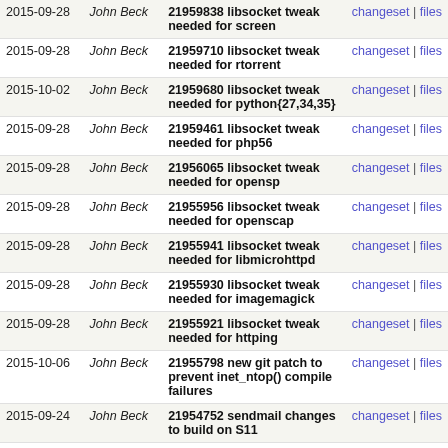| Date | Author | Message | Links |
| --- | --- | --- | --- |
| 2015-09-28 | John Beck | 21959838 libsocket tweak needed for screen | changeset | files |
| 2015-09-28 | John Beck | 21959710 libsocket tweak needed for rtorrent | changeset | files |
| 2015-10-02 | John Beck | 21959680 libsocket tweak needed for python{27,34,35} | changeset | files |
| 2015-09-28 | John Beck | 21959461 libsocket tweak needed for php56 | changeset | files |
| 2015-09-28 | John Beck | 21956065 libsocket tweak needed for opensp | changeset | files |
| 2015-09-28 | John Beck | 21955956 libsocket tweak needed for openscap | changeset | files |
| 2015-09-28 | John Beck | 21955941 libsocket tweak needed for libmicrohttpd | changeset | files |
| 2015-09-28 | John Beck | 21955930 libsocket tweak needed for imagemagick | changeset | files |
| 2015-09-28 | John Beck | 21955921 libsocket tweak needed for httping | changeset | files |
| 2015-10-06 | John Beck | 21955798 new git patch to prevent inet_ntop() compile failures | changeset | files |
| 2015-09-24 | John Beck | 21954752 sendmail changes to build on S11 | changeset | files |
| 2015-09-24 | John Beck | 21954711 add SOLARIS_{11,12}_ONLY macros for FOSS evaluation project | changeset | files |
| 2015-09-24 | John Beck | 21954678 libdnet should use $(SOLARIS_VERSION) instead | changeset | files |